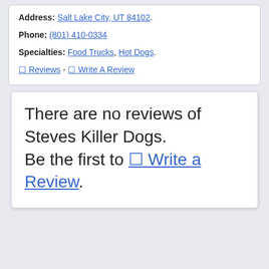Address: Salt Lake City, UT 84102.
Phone: (801) 410-0334
Specialties: Food Trucks, Hot Dogs.
0 Reviews - 0 Write A Review
There are no reviews of Steves Killer Dogs. Be the first to 0 Write a Review.